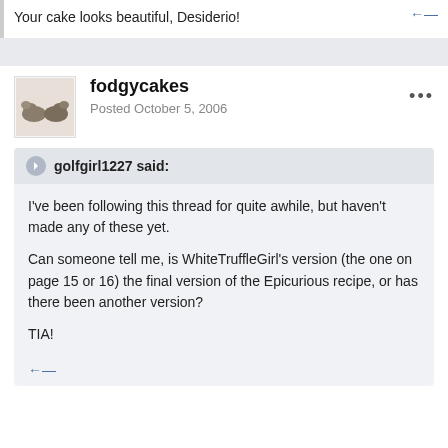Your cake looks beautiful, Desiderio!
fodgycakes
Posted October 5, 2006
golfgirl1227 said:
I've been following this thread for quite awhile, but haven't made any of these yet.

Can someone tell me, is WhiteTruffleGirl's version (the one on page 15 or 16) the final version of the Epicurious recipe, or has there been another version?

TIA!